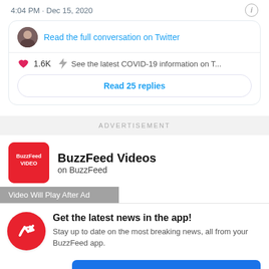4:04 PM · Dec 15, 2020
Read the full conversation on Twitter
1.6K   See the latest COVID-19 information on T...
Read 25 replies
ADVERTISEMENT
[Figure (logo): BuzzFeed Video red logo square]
BuzzFeed Videos
on BuzzFeed
Video Will Play After Ad
[Figure (logo): BuzzFeed red circle with white arrow up-right icon]
Get the latest news in the app! Stay up to date on the most breaking news, all from your BuzzFeed app.
Maybe later
Get the app